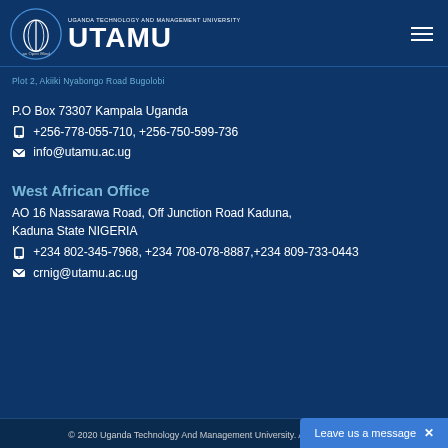[Figure (logo): UTAMU - Uganda Technology and Management University logo with open book/leaf icon]
Plot 2, Akiiki Nyabongo Road Bugolobi
P.O Box 73307 Kampala Uganda
+256-778-055-710, +256-750-599-736
info@utamu.ac.ug
West African Office
AO 16 Nassarawa Road, Off Junction Road Kaduna, Kaduna State NIGERIA
+234 802-345-7968, +234 708-078-8887,+234 809-733-0443
crnig@utamu.ac.ug
© 2020 Uganda Technology And Management University. All Rights Reserved.
Leave us a message